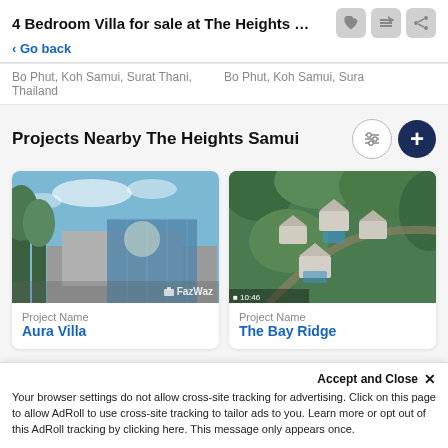4 Bedroom Villa for sale at The Heights S...
< Go back
Bo Phut, Koh Samui, Surat Thani, Thailand    Bo Phut, Koh Samui, Sura
Projects Nearby The Heights Samui
[Figure (photo): Exterior photo of Aura Villa with glass facade and trees, FazWaz watermark]
Project Name
Aura Villa
[Figure (photo): Aerial photo of The Bay Ridge villa complex on hillside surrounded by greenery]
Project Name
The Bay Ridge
Accept and Close ✕
Your browser settings do not allow cross-site tracking for advertising. Click on this page to allow AdRoll to use cross-site tracking to tailor ads to you. Learn more or opt out of this AdRoll tracking by clicking here. This message only appears once.